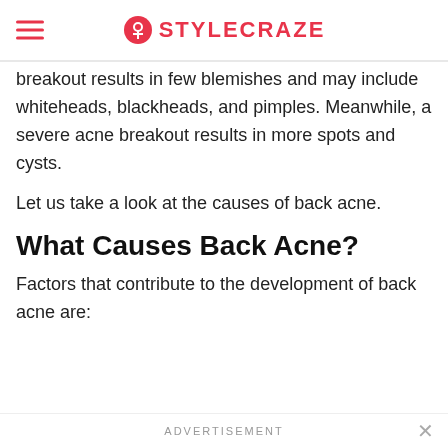StyleCraze
breakout results in few blemishes and may include whiteheads, blackheads, and pimples. Meanwhile, a severe acne breakout results in more spots and cysts.
Let us take a look at the causes of back acne.
What Causes Back Acne?
Factors that contribute to the development of back acne are:
ADVERTISEMENT